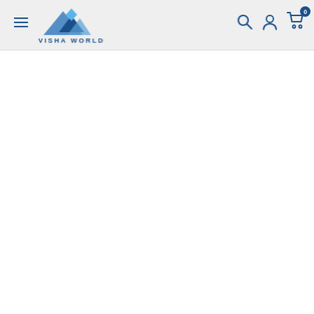[Figure (logo): Visha World logo with blue diamond/triangle graphic and text VISHA WORLD in blue letters, displayed in website navigation header]
[Figure (screenshot): E-commerce website header with hamburger menu icon, Visha World logo, search icon, user account icon, and shopping cart icon with 0 badge. Below header is blank white page content area.]